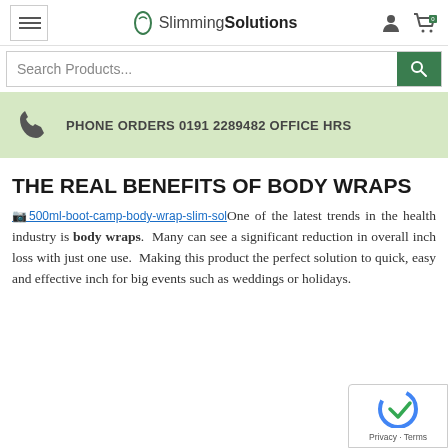Slimming Solutions
Search Products...
PHONE ORDERS 0191 2289482 OFFICE HRS
THE REAL BENEFITS OF BODY WRAPS
One of the latest trends in the health industry is body wraps. Many can see a significant reduction in overall inch loss with just one use. Making this product the perfect solution to quick, easy and effective inch for big events such as weddings or holidays.